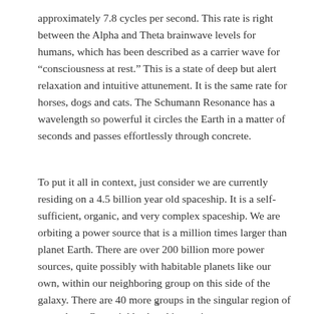approximately 7.8 cycles per second. This rate is right between the Alpha and Theta brainwave levels for humans, which has been described as a carrier wave for “consciousness at rest.” This is a state of deep but alert relaxation and intuitive attunement. It is the same rate for horses, dogs and cats. The Schumann Resonance has a wavelength so powerful it circles the Earth in a matter of seconds and passes effortlessly through concrete.
To put it all in context, just consider we are currently residing on a 4.5 billion year old spaceship. It is a self-sufficient, organic, and very complex spaceship. We are orbiting a power source that is a million times larger than planet Earth. There are over 200 billion more power sources, quite possibly with habitable planets like our own, within our neighboring group on this side of the galaxy. There are 40 more groups in the singular region of our galaxy. Our neighborhood is moving at
x